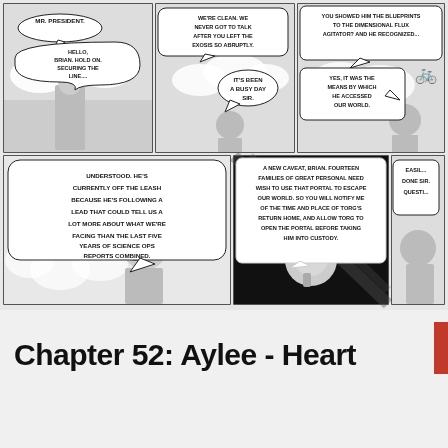[Figure (illustration): Comic strip with 6 panels arranged in 2 rows. Top row: Panel 1 - character says 'MR. PRESIDENT.' then 'HELLO, BRIAN. HOLD ON. SECURING THE LINE....'; Panel 2 - character says 'WE'RE CLEAN. WE NEVER GOT TO TALK AFTER YOU LEFT THE EXOSIS SO ABRUPTLY.' other responds 'IT'S BEEN A BUSY DAY SIR.'; Panel 3 (partial) - 'YOU SHOWED HIM THE BLUEPRINTS TO THE DIMENSIONAL FLUX AGITATOR? AND HE RECOGNIZED...' response 'YES, IT WAS THE MEANS BY WHICH HE ACCESSED OUR WORLD.' Bottom row: Panel 4 - 'UNDERSTOOD. HE'S CURRENTLY OFF THE LEASH BECAUSE HE'S FOLLOWING A LEAD THAT COULD TELL US A LOT MORE ABOUT WHAT WE'RE FACING THAN THE LAST FIVE YEARS OF SCIENCE OPS REPORTS COMBINED.'; Panel 5 - 'A NEW CAVEAT, BRIAN. FOURTEEN FAMILIES OF GREAT PERSONAL NEED WISH TO USE THAT PORTAL TO ESCAPE OUR WORLD. SO YOU WILL NOTIFY ME OF THE TIME AND PLACE OF TORG'S RETURN HOME, AND ALLOW TORG TO OPEN THE PORTAL BEFORE TAKING HIM INTO CUSTODY.'; Panel 6 (partial) - 'EASILY DONE SIR. NO QUESTI...']
Chapter 52: Aylee - Heart